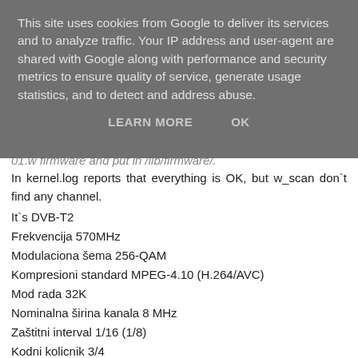This site uses cookies from Google to deliver its services and to analyze traffic. Your IP address and user-agent are shared with Google along with performance and security metrics to ensure quality of service, generate usage statistics, and to detect and address abuse.
LEARN MORE    OK
01.w firmware and put in /lib/firmware/.
In kernel.log reports that everything is OK, but w_scan don`t find any channel.
It`s DVB-T2
Frekvencija 570MHz
Modulaciona šema 256-QAM
Kompresioni standard MPEG-4.10 (H.264/AVC)
Mod rada 32K
Nominalna širina kanala 8 MHz
Zaštitni interval 1/16 (1/8)
Kodni kolicnik 3/4
Pilot šema PP4 (PP2)
Tip mreže SFN
Ulazni mod A
Antenski mod SISO